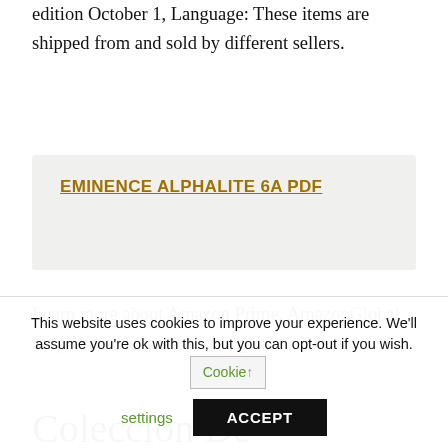edition October 1, Language: These items are shipped from and sold by different sellers.
EMINENCE ALPHALITE 6A PDF
Learn more about Amazon Prime. AmazonGlobal Ship Escoidas Internationally.
Coleccion De Oraciones Escogidas: Nuevo
This website uses cookies to improve your experience. We'll assume you're ok with this, but you can opt-out if you wish. Cookie settings ACCEPT